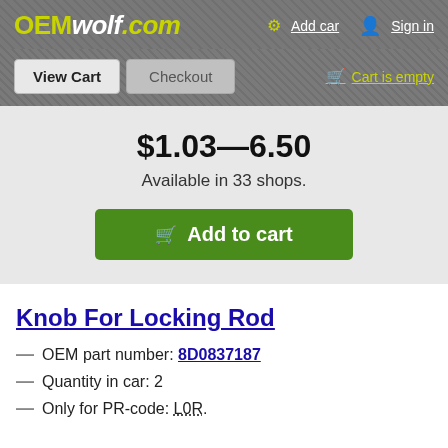OEMwolf.com — Add car — Sign in
View Cart | Checkout | Cart is empty
$1.03—6.50
Available in 33 shops.
Add to cart
Knob For Locking Rod
OEM part number: 8D0837187
Quantity in car: 2
Only for PR-code: L0R.
$?